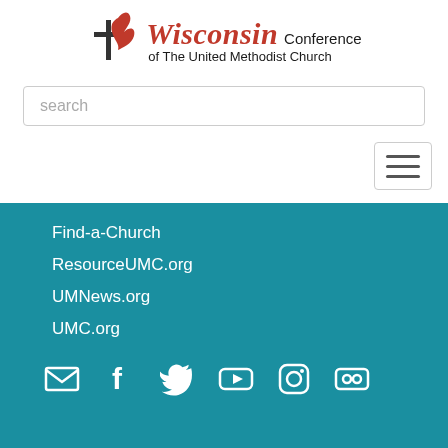[Figure (logo): Wisconsin Conference of The United Methodist Church logo with flame and cross icon and stylized red italic Wisconsin text]
search
[Figure (other): Hamburger menu button with three horizontal lines]
Find-a-Church
ResourceUMC.org
UMNews.org
UMC.org
[Figure (other): Social media icons row: email, Facebook, Twitter, YouTube, Instagram, Flickr]